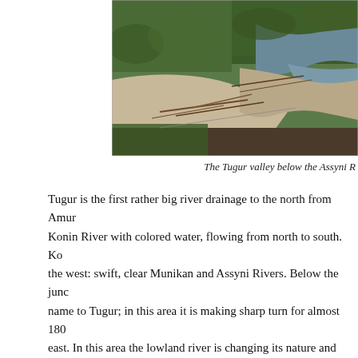[Figure (photo): Aerial view of the Tugur valley river winding through forested landscape with log jams and sandy riverbanks below the Assyni River confluence]
The Tugur valley below the Assyni R
Tugur is the first rather big river drainage to the north from Amur... Konin River with colored water, flowing from north to south. Kon... the west: swift, clear Munikan and Assyni Rivers. Below the junc... name to Tugur; in this area it is making sharp turn for almost 180... east. In this area the lowland river is changing its nature and beco... channels in this area are blocked by huge log-jams, which are dam... of Tugur River there is a tiny native (Evenk) village of the same n... taimen stock; the species is quite abundant in the drainage. Tugur... taimen. This unique stock of taimen during summer and fall feed